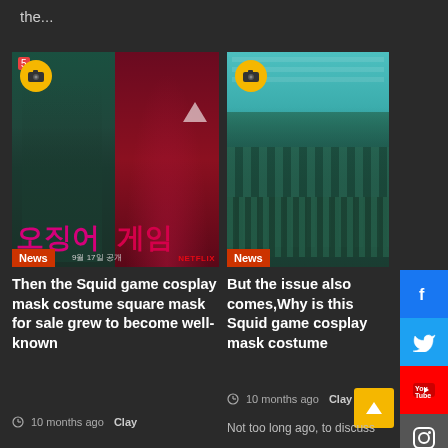the...
[Figure (photo): Squid Game Korean Netflix show promotional image with cast and Korean text]
[Figure (photo): Squid Game crowd scene with players in teal tracksuits in a large warehouse]
Then the Squid game cosplay mask costume square mask for sale grew to become well-known
10 months ago  Clay
But the issue also comes,Why is this Squid game cosplay mask costume
10 months ago  Clay
Not too long ago, to discuss